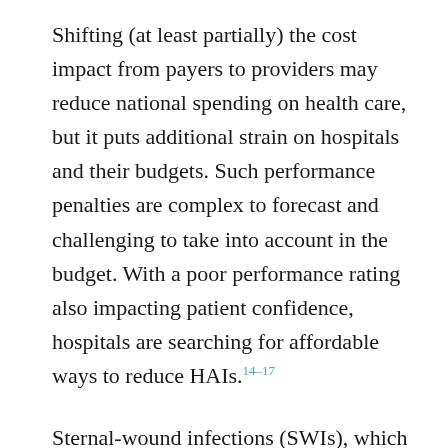Shifting (at least partially) the cost impact from payers to providers may reduce national spending on health care, but it puts additional strain on hospitals and their budgets. Such performance penalties are complex to forecast and challenging to take into account in the budget. With a poor performance rating also impacting patient confidence, hospitals are searching for affordable ways to reduce HAIs.14–17
Sternal-wound infections (SWIs), which can occur after cardiac surgery, are a major and well-defined contributor to the burden of HAIs.18 Unlike most HAIs and surgical-site infections, the definition of SWIs is generally